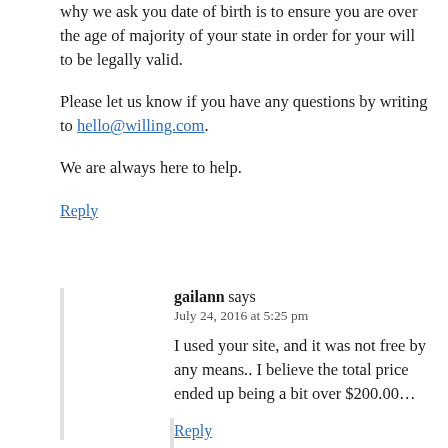why we ask you date of birth is to ensure you are over the age of majority of your state in order for your will to be legally valid.
Please let us know if you have any questions by writing to hello@willing.com.
We are always here to help.
Reply
gailann says
July 24, 2016 at 5:25 pm
I used your site, and it was not free by any means.. I believe the total price ended up being a bit over $200.00…
Reply